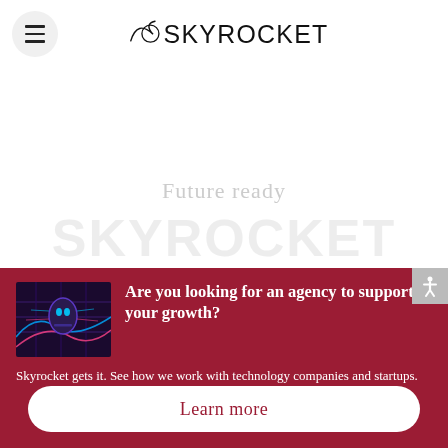SKYROCKET
Future ready
SKYROCKET
Are you looking for an agency to support your growth?
Skyrocket gets it. See how we work with technology companies and startups.
Learn more